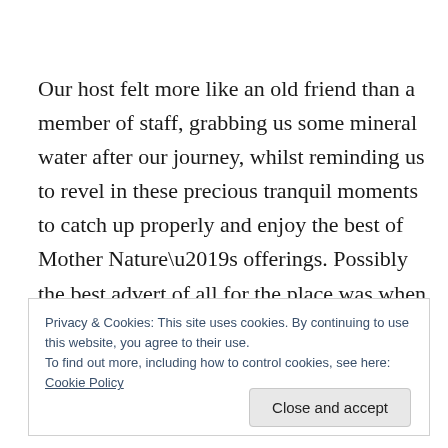Our host felt more like an old friend than a member of staff, grabbing us some mineral water after our journey, whilst reminding us to revel in these precious tranquil moments to catch up properly and enjoy the best of Mother Nature’s offerings. Possibly the best advert of all for the place was when she declared “first a guest and
Privacy & Cookies: This site uses cookies. By continuing to use this website, you agree to their use.
To find out more, including how to control cookies, see here: Cookie Policy
Close and accept